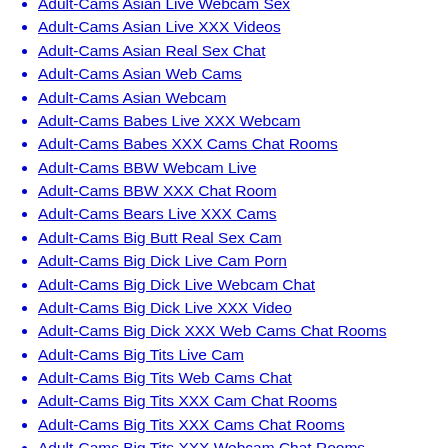Adult-Cams Asian Live Webcam Sex
Adult-Cams Asian Live XXX Videos
Adult-Cams Asian Real Sex Chat
Adult-Cams Asian Web Cams
Adult-Cams Asian Webcam
Adult-Cams Babes Live XXX Webcam
Adult-Cams Babes XXX Cams Chat Rooms
Adult-Cams BBW Webcam Live
Adult-Cams BBW XXX Chat Room
Adult-Cams Bears Live XXX Cams
Adult-Cams Big Butt Real Sex Cam
Adult-Cams Big Dick Live Cam Porn
Adult-Cams Big Dick Live Webcam Chat
Adult-Cams Big Dick Live XXX Video
Adult-Cams Big Dick XXX Web Cams Chat Rooms
Adult-Cams Big Tits Live Cam
Adult-Cams Big Tits Web Cams Chat
Adult-Cams Big Tits XXX Cam Chat Rooms
Adult-Cams Big Tits XXX Cams Chat Rooms
Adult-Cams Big Tits XXX Webcam Chat Rooms
Adult-Cams Bisexual Guys Live Cam Porn
Adult-Cams Blonde Live Web Cams Sex
Adult-Cams Blonde Live Webcam Sex
Adult-Cams Blonde XXX Web Cams Chat Rooms